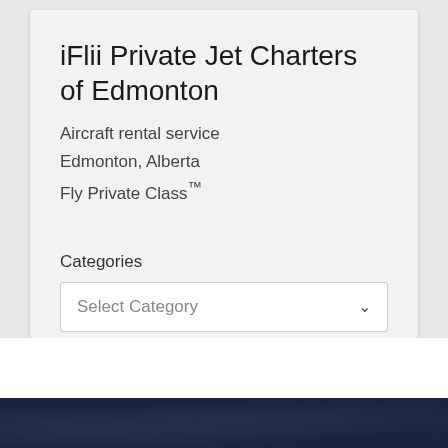iFlii Private Jet Charters of Edmonton
Aircraft rental service
Edmonton, Alberta
Fly Private Class™
Categories
Select Category